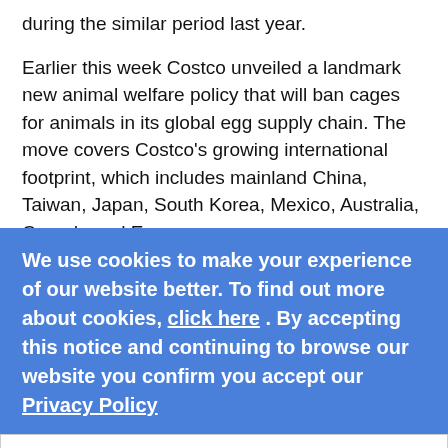during the similar period last year.
Earlier this week Costco unveiled a landmark new animal welfare policy that will ban cages for animals in its global egg supply chain. The move covers Costco's growing international footprint, which includes mainland China, Taiwan, Japan, South Korea, Mexico, Australia, Canada and Europe.
"We are in the process of making that transition [to cage-free eggs], noted Josh Dahmen, Financial Planning and Investor Relations Director for Costco, in an email to investors this week. "We will continue to increase the percentage over time, with a goal of eventually getting to 100%, although this may take several years in some countries, due to issues with availability." Costco is the first U.S. retailer to issue a global policy on the confinement of animals in
We use cookies to make your experience of our website better. To find out more about cookies, click here . By accepting this notice and continuing to browse our website you confirm you accept our Privacy Policy
OK